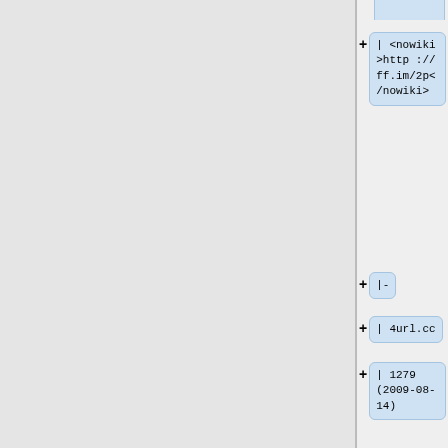|
<nowiki>http://ff.im/2p</nowiki>
</nowiki>
|-
| 4url.cc
| 1279
(2009-08-14)
|
[[User:Chron
omex]]
| done
| dead
(2011-02-
15).
Redirect to
ad.laden